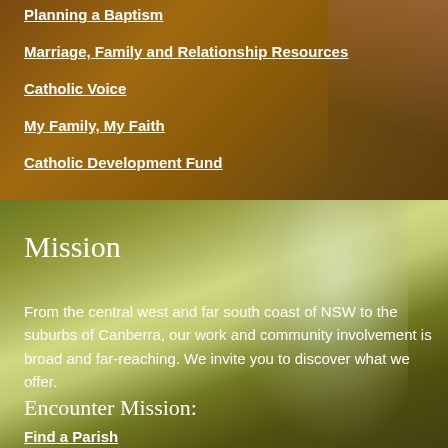Planning a Baptism
Marriage, Family and Relationship Resources
Catholic Voice
My Family, My Faith
Catholic Development Fund
Mission
From the central west and far south coast of NSW to the suburbs of Canberra, our work and community involvement is broad and far-reaching. We invite you to discover what we offer.
Encounter Mission:
Find a Parish